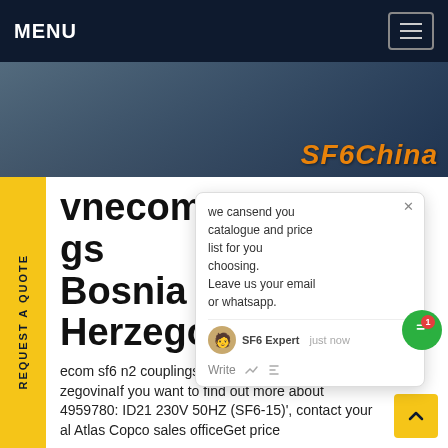MENU
[Figure (photo): Hero banner image with SF6China branding in orange italic text on a dark industrial background]
vnecom sf6 n2 couplings Bosnia and Herzegovina
ecom sf6 n2 couplings in Bosnia and HerzegovinaIf you want to find out more about 4959780: ID21 230V 50HZ (SF6-15)', contact your al Atlas Copco sales officeGet price
[Figure (screenshot): Chat popup overlay with message: we can send you catalogue and price list for you choosing. Leave us your email or whatsapp. SF6 Expert just now Write]
[Figure (photo): Bottom photo showing electrical transmission towers/pylons against blue sky]